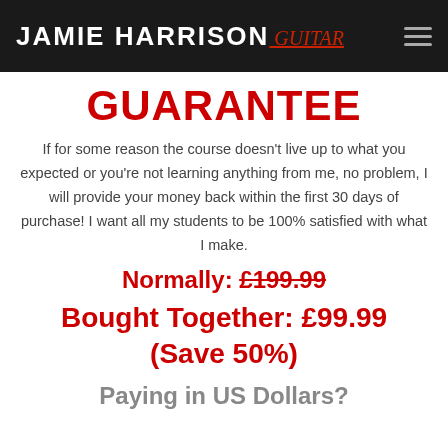JAMIE HARRISON guitar
GUARANTEE
If for some reason the course doesn't live up to what you expected or you're not learning anything from me, no problem, I will provide your money back within the first 30 days of purchase! I want all my students to be 100% satisfied with what I make.
Normally: £199.99
Bought Together: £99.99 (Save 50%)
Paying in US Dollars?